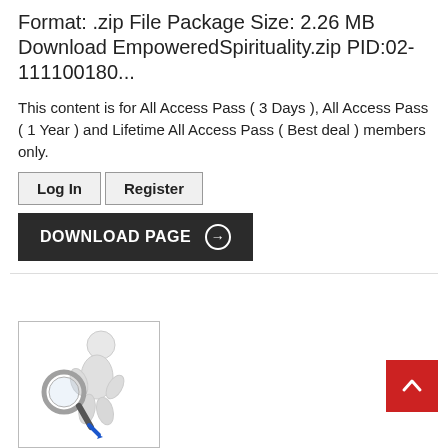Format: .zip File Package Size: 2.26 MB Download EmpoweredSpirituality.zip PID:02-111100180...
This content is for All Access Pass ( 3 Days ), All Access Pass ( 1 Year ) and Lifetime All Access Pass ( Best deal ) members only.
Log In  Register
DOWNLOAD PAGE →
[Figure (illustration): A 3D white humanoid figure holding a large magnifying glass, crouching/searching pose, with a blue pen or marker in its other hand.]